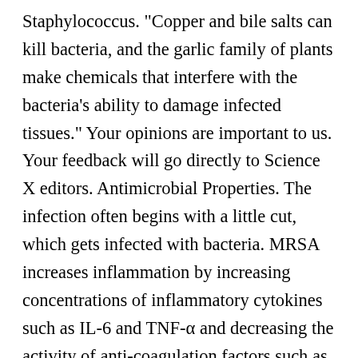Staphylococcus. "Copper and bile salts can kill bacteria, and the garlic family of plants make chemicals that interfere with the bacteria's ability to damage infected tissues." Your opinions are important to us. Your feedback will go directly to Science X editors. Antimicrobial Properties. The infection often begins with a little cut, which gets infected with bacteria. MRSA increases inflammation by increasing concentrations of inflammatory cytokines such as IL-6 and TNF-α and decreasing the activity of anti-coagulation factors such as AT-III. You can make dips with fresh garlic and you can spread fresh garlic on toast. Instead, garlic is added to the dough